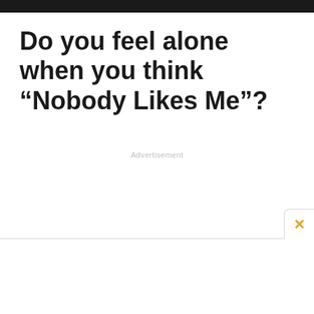Do you feel alone when you think “Nobody Likes Me”?
Advertisement